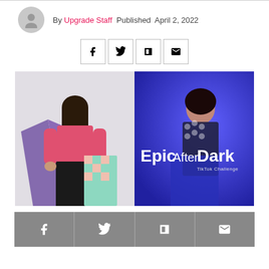By Upgrade Staff Published April 2, 2022
[Figure (other): Four social share buttons: Facebook, Twitter, Flipboard, Email]
[Figure (photo): Split image: left side shows a woman in a pink shirt holding purple and checkered fabric; right side shows a woman in a patterned bodysuit against a blue background with text 'Epic After Dark TikTok Challenge']
[Figure (other): Bottom gray bar with four social share buttons: Facebook, Twitter, Flipboard, Email]